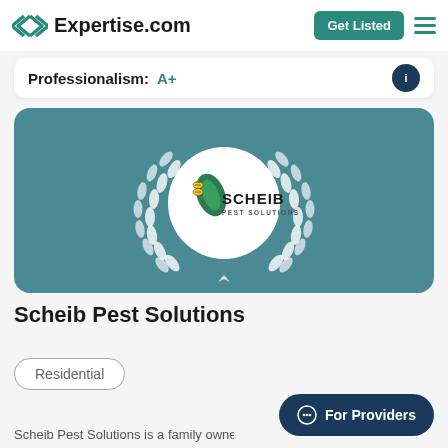Expertise.com
Professionalism: A+
[Figure (logo): Scheib Pest Solutions logo inside white circle with laurel wreath on teal background]
Scheib Pest Solutions
Residential
For Providers
Scheib Pest Solutions is a family owned business with